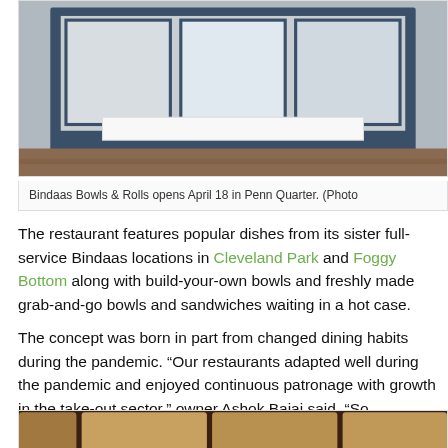[Figure (photo): Exterior storefront of Bindaas Bowls & Rolls restaurant with blue-framed windows and a white sign strip across the front]
Bindaas Bowls & Rolls opens April 18 in Penn Quarter. (Photo
The restaurant features popular dishes from its sister full-service Bindaas locations in Cleveland Park and Foggy Bottom along with build-your-own bowls and freshly made grab-and-go bowls and sandwiches waiting in a hot case.
The concept was born in part from changed dining habits during the pandemic. “Our restaurants adapted well during the pandemic and enjoyed continuous patronage with growth in the take-out sector,” owner Ashok Bajaj said. “So transitioning to create our first to-go focused location makes perfect sense as we move forward together.”
[Figure (photo): Interior of restaurant showing wooden ceiling panels with geometric design and dark ambient lighting]